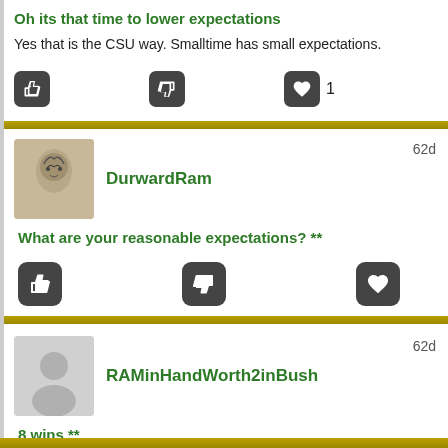Oh its that time to lower expectations
Yes that is the CSU way. Smalltime has small expectations.
[reply] [share] [like] 1
DurwardRam  62d
What are your reasonable expectations? **
[reply] [share] [like]
RAMinHandWorth2inBush  62d
8 wins **
[reply] [share] [like]